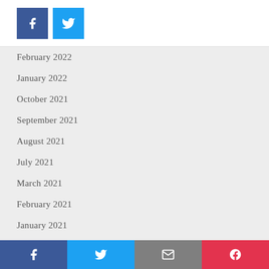Facebook and Twitter share buttons
February 2022
January 2022
October 2021
September 2021
August 2021
July 2021
March 2021
February 2021
January 2021
December 2020
November 2020
October 2020
Facebook, Twitter, Email, Pocket share buttons